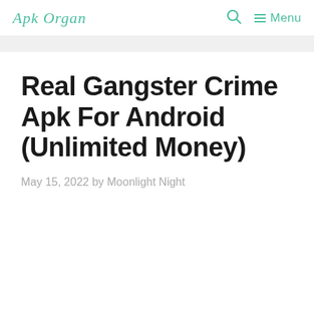Apk Organ — Menu
Real Gangster Crime Apk For Android (Unlimited Money)
May 15, 2022 by Moonlight Night